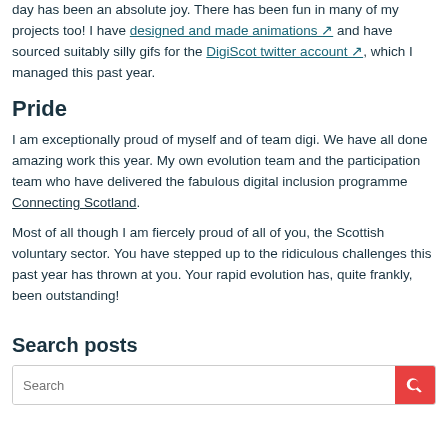day has been an absolute joy. There has been fun in many of my projects too! I have designed and made animations ↗ and have sourced suitably silly gifs for the DigiScot twitter account ↗, which I managed this past year.
Pride
I am exceptionally proud of myself and of team digi. We have all done amazing work this year. My own evolution team and the participation team who have delivered the fabulous digital inclusion programme Connecting Scotland.
Most of all though I am fiercely proud of all of you, the Scottish voluntary sector. You have stepped up to the ridiculous challenges this past year has thrown at you. Your rapid evolution has, quite frankly, been outstanding!
Search posts
Search